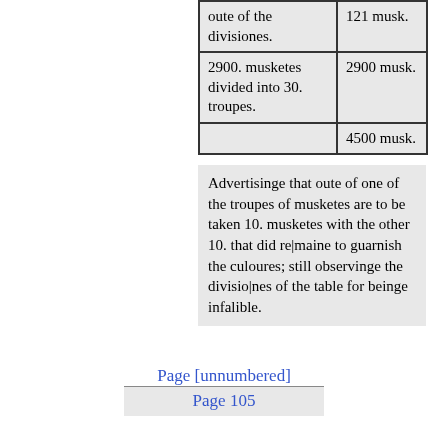| Description | Amount |
| --- | --- |
| oute of the divisiones. | 121 musk. |
| 2900. musketes divided into 30. troupes. | 2900 musk. |
|  | 4500 musk. |
Advertisinge that oute of one of the troupes of musketes are to be taken 10. musketes with the other 10. that did re|maine to guarnish the culoures; still observinge the divisio|nes of the table for beinge infalible.
Page  [unnumbered]
Page  105